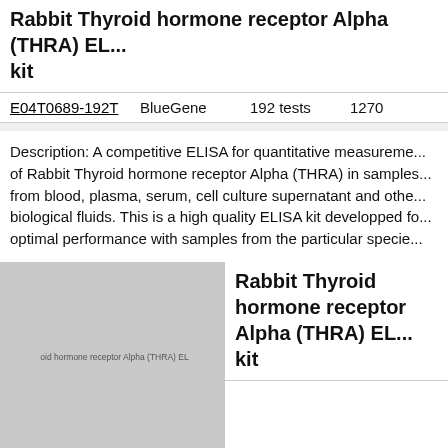Rabbit Thyroid hormone receptor Alpha (THRA) ELISA kit
| Cat# | Brand | Quantity | Price |
| --- | --- | --- | --- |
| E04T0689-192T | BlueGene | 192 tests | 1270 |
Description: A competitive ELISA for quantitative measurement of Rabbit Thyroid hormone receptor Alpha (THRA) in samples from blood, plasma, serum, cell culture supernatant and other biological fluids. This is a high quality ELISA kit developped for optimal performance with samples from the particular specie
[Figure (photo): Product image placeholder showing grey box with text 'oid hormone receptor Alpha (THRA) EL']
Rabbit Thyroid hormone receptor Alpha (THRA) ELISA kit
| Cat# | Brand | Quantity | Price |
| --- | --- | --- | --- |
| E04T0689-48 | BlueGene | 1 plate of | 520 |